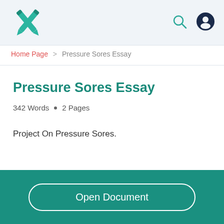[Figure (logo): Crossed pencils / X-shaped logo in teal/green color]
[Figure (illustration): Search icon (magnifying glass) in dark teal]
[Figure (illustration): User/profile icon circle in dark navy blue]
Home Page > Pressure Sores Essay
Pressure Sores Essay
342 Words • 2 Pages
Project On Pressure Sores.
Open Document